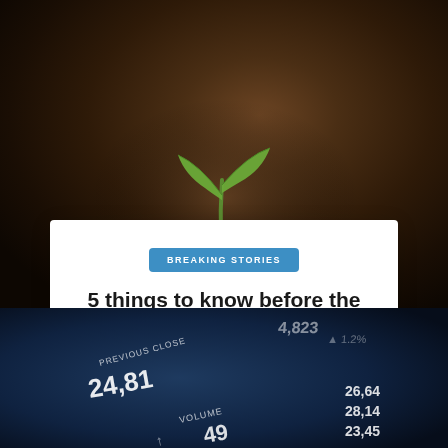[Figure (photo): Close-up photo of a small green seedling sprouting from dark brown soil, against a blurred earthy background]
BREAKING STORIES
5 things to know before the stock market opens Friday
By  ⊙ 24 mins ago
[Figure (photo): Close-up photo of a dark blue financial trading screen showing stock data including PREVIOUS CLOSE 24.81, VOLUME 49, and other numbers like 26.64, 28.14, 23.45]